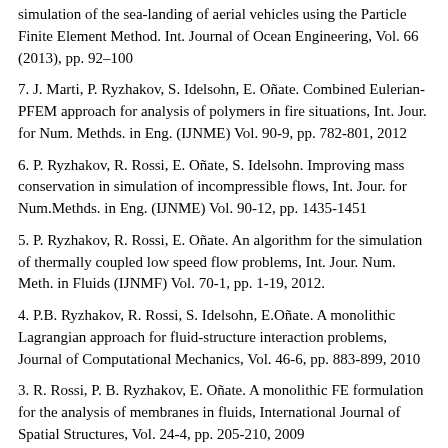simulation of the sea-landing of aerial vehicles using the Particle Finite Element Method. Int. Journal of Ocean Engineering, Vol. 66 (2013), pp. 92–100
7. J. Marti, P. Ryzhakov, S. Idelsohn, E. Oñate. Combined Eulerian-PFEM approach for analysis of polymers in fire situations, Int. Jour. for Num. Methds. in Eng. (IJNME) Vol. 90-9, pp. 782-801, 2012
6. P. Ryzhakov, R. Rossi, E. Oñate, S. Idelsohn. Improving mass conservation in simulation of incompressible flows, Int. Jour. for Num.Methds. in Eng. (IJNME) Vol. 90-12, pp. 1435-1451
5. P. Ryzhakov, R. Rossi, E. Oñate. An algorithm for the simulation of thermally coupled low speed flow problems, Int. Jour. Num. Meth. in Fluids (IJNMF) Vol. 70-1, pp. 1-19, 2012.
4. P.B. Ryzhakov, R. Rossi, S. Idelsohn, E.Oñate. A monolithic Lagrangian approach for fluid-structure interaction problems, Journal of Computational Mechanics, Vol. 46-6, pp. 883-899, 2010
3. R. Rossi, P. B. Ryzhakov, E. Oñate. A monolithic FE formulation for the analysis of membranes in fluids, International Journal of Spatial Structures, Vol. 24-4, pp. 205-210, 2009
2. …